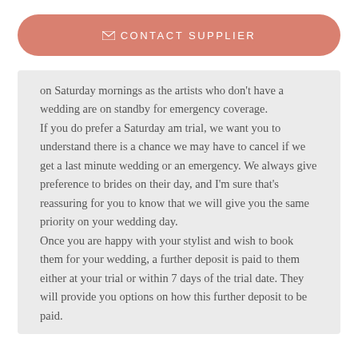[Figure (other): Salmon/coral rounded button bar with envelope icon and text 'CONTACT SUPPLIER']
on Saturday mornings as the artists who don't have a wedding are on standby for emergency coverage.
If you do prefer a Saturday am trial, we want you to understand there is a chance we may have to cancel if we get a last minute wedding or an emergency. We always give preference to brides on their day, and I'm sure that's reassuring for you to know that we will give you the same priority on your wedding day.
Once you are happy with your stylist and wish to book them for your wedding, a further deposit is paid to them either at your trial or within 7 days of the trial date. They will provide you options on how this further deposit to be paid.